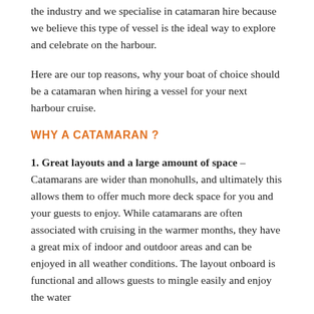the industry and we specialise in catamaran hire because we believe this type of vessel is the ideal way to explore and celebrate on the harbour.
Here are our top reasons, why your boat of choice should be a catamaran when hiring a vessel for your next harbour cruise.
WHY A CATAMARAN ?
1. Great layouts and a large amount of space – Catamarans are wider than monohulls, and ultimately this allows them to offer much more deck space for you and your guests to enjoy. While catamarans are often associated with cruising in the warmer months, they have a great mix of indoor and outdoor areas and can be enjoyed in all weather conditions. The layout onboard is functional and allows guests to mingle easily and enjoy the water